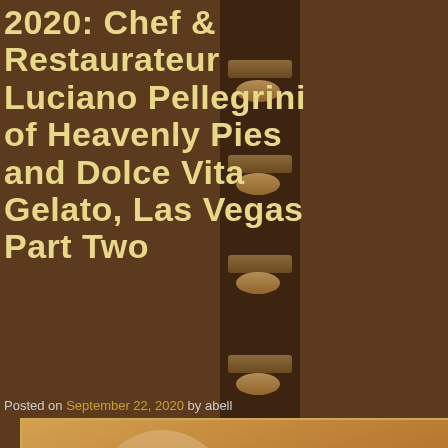2020: Chef & Restaurateur Luciano Pellegrini of Heavenly Pies and Dolce Vita Gelato, Las Vegas Part Two
Posted on September 22, 2020 by abell
[Figure (photo): Portrait photo of a middle-aged man with gray hair smiling, with a dark wine bottle visible in the background, set against a warm golden/beige background with foliage]